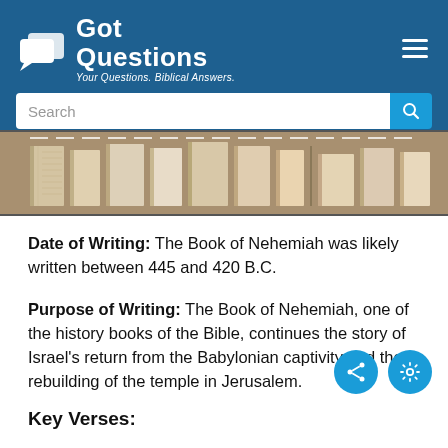[Figure (screenshot): GotQuestions website header with logo, tagline 'Your Questions. Biblical Answers.' and a search bar on dark blue background]
[Figure (photo): Photo of open books/bibles arranged in a row, viewed from above, showing pages, tan/brown tones]
Date of Writing: The Book of Nehemiah was likely written between 445 and 420 B.C.
Purpose of Writing: The Book of Nehemiah, one of the history books of the Bible, continues the story of Israel's return from the Babylonian captivity and the rebuilding of the temple in Jerusalem.
Key Verses: